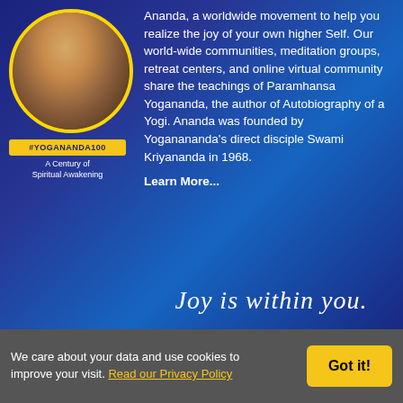[Figure (photo): Circular portrait of Paramhansa Yogananda with gold border and Yogananda100 badge ribbon below reading 'A Century of Spiritual Awakening']
Ananda, a worldwide movement to help you realize the joy of your own higher Self. Our world-wide communities, meditation groups, retreat centers, and online virtual community share the teachings of Paramhansa Yogananda, the author of Autobiography of a Yogi. Ananda was founded by Yoganananda's direct disciple Swami Kriyananda in 1968.
Learn More...
Joy is within you.
See our current COVID-19 Protocols
CONNECT
14618 Tyler Foote Rd
Nevada City, California 95959
Toll free 800-346-5350
Outside US 530-478-7518
Contact Us
Donate to our non-profit
We care about your data and use cookies to improve your visit. Read our Privacy Policy
Got it!